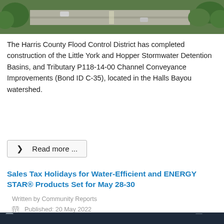[Figure (photo): Aerial view of a road with trees, partial image at top of page]
The Harris County Flood Control District has completed construction of the Little York and Hopper Stormwater Detention Basins, and Tributary P118-14-00 Channel Conveyance Improvements (Bond ID C-35), located in the Halls Bayou watershed.
❯  Read more ...
Sales Tax Holidays for Water-Efficient and ENERGY STAR® Products Set for May 28-30
Written by Community Reports
📅  Published: 20 May 2022
[Figure (infographic): Dark navy infographic with white text: SAVE ENERGY. SAVE WATER. SAVE MONEY. TEXAS SALES TAX HOLIDAY with icons of appliances, water fixtures, and plants]